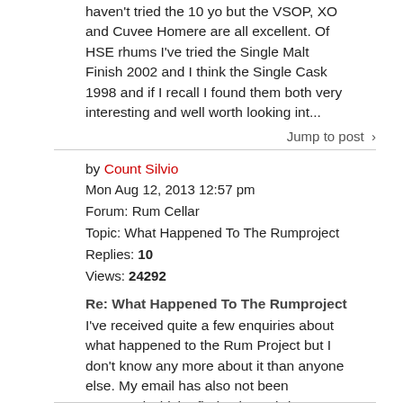haven't tried the 10 yo but the VSOP, XO and Cuvee Homere are all excellent. Of HSE rhums I've tried the Single Malt Finish 2002 and I think the Single Cask 1998 and if I recall I found them both very interesting and well worth looking int...
Jump to post >
by Count Silvio
Mon Aug 12, 2013 12:57 pm
Forum: Rum Cellar
Topic: What Happened To The Rumproject
Replies: 10
Views: 24292
Re: What Happened To The Rumproject
I've received quite a few enquiries about what happened to the Rum Project but I don't know any more about it than anyone else. My email has also not been answered which I find quite weird. I wouldn't want to start speculating though, it could be anything. Nevertheless, welcome to the forums Dai, an...
Jump to post >